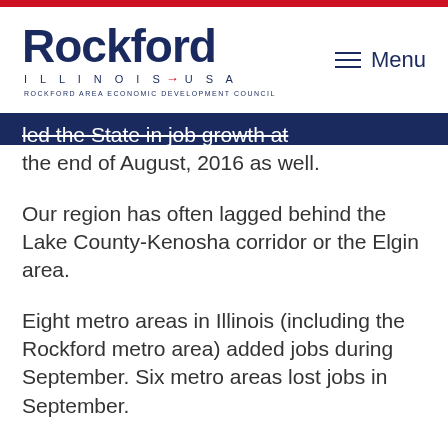[Figure (logo): Rockford Illinois USA logo with Rockford Area Economic Development Council text]
led the State in job growth at the end of August, 2016 as well.
Our region has often lagged behind the Lake County-Kenosha corridor or the Elgin area.
Eight metro areas in Illinois (including the Rockford metro area) added jobs during September. Six metro areas lost jobs in September.
Rockford's recovery has been strong and steady over the past 12-18 months, with the strongest job